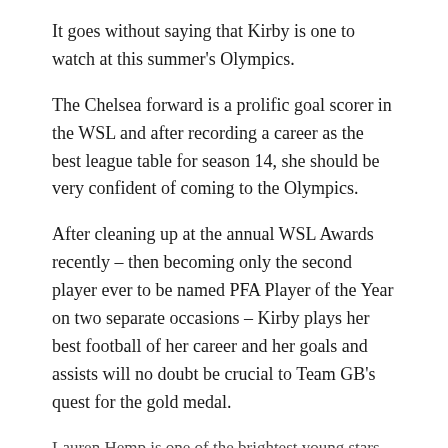It goes without saying that Kirby is one to watch at this summer's Olympics.
The Chelsea forward is a prolific goal scorer in the WSL and after recording a career as the best league table for season 14, she should be very confident of coming to the Olympics.
After cleaning up at the annual WSL Awards recently – then becoming only the second player ever to be named PFA Player of the Year on two separate occasions – Kirby plays her best football of her career and her goals and assists will no doubt be crucial to Team GB's quest for the gold medal.
Lauren Hemp is one of the brightest young stars in England right now / Karl Bridgeman / Getty Images
If you are looking for a talented youth who can really and well communicate themselves on the world stage this summer, look no further than Hampa.